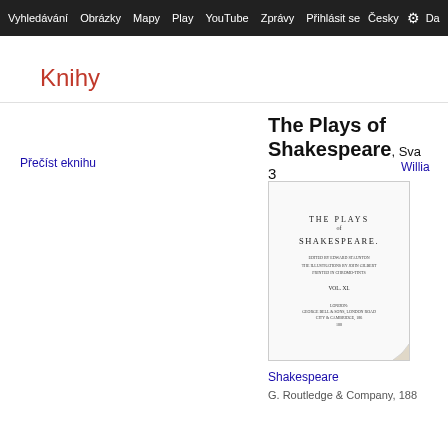Vyhledávání  Obrázky  Mapy  Play  YouTube  Zprávy  Přihlásit se  Česky  Da
Knihy
Přečíst eknihu
The Plays of Shakespeare, Svazek 3
Willia
[Figure (illustration): Book cover of The Plays of Shakespeare showing title page with text THE PLAYS OF SHAKESPEARE, edited by Edward Staunton, with illustrations by John Gilbert, VOL. XI, London, published by Routledge, with a page curl at bottom right corner]
Shakespeare
G. Routledge & Company, 188